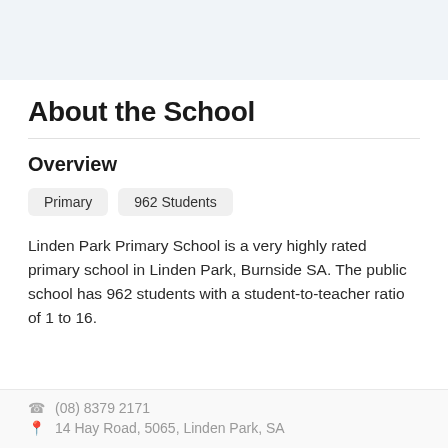About the School
Overview
Primary   962 Students
Linden Park Primary School is a very highly rated primary school in Linden Park, Burnside SA. The public school has 962 students with a student-to-teacher ratio of 1 to 16.
(08) 8379 2171
14 Hay Road, 5065, Linden Park, SA